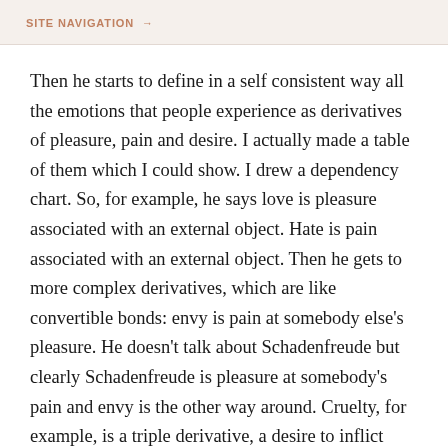SITE NAVIGATION →
Then he starts to define in a self consistent way all the emotions that people experience as derivatives of pleasure, pain and desire. I actually made a table of them which I could show. I drew a dependency chart. So, for example, he says love is pleasure associated with an external object. Hate is pain associated with an external object. Then he gets to more complex derivatives, which are like convertible bonds: envy is pain at somebody else's pleasure. He doesn't talk about Schadenfreude but clearly Schadenfreude is pleasure at somebody's pain and envy is the other way around. Cruelty, for example, is a triple derivative, a desire to inflict pain, on someone that you love.
In this way he builds up a categorical description of